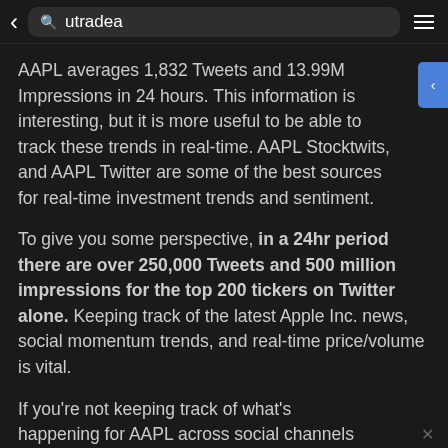utradea
AAPL averages 1,832 Tweets and 13.99M Impressions in 24 hours. This information is interesting, but it is more useful to be able to track these trends in real-time. AAPL Stocktwits, and AAPL Twitter are some of the best sources for real-time investment trends and sentiment.
To give you some perspective, in a 24hr period there are over 250,000 Tweets and 500 million impressions for the top 200 tickers on Twitter alone. Keeping track of the latest Apple Inc. news, social momentum trends, and real-time price/volume is vital.
If you're not keeping track of what's happening for AAPL across social channels